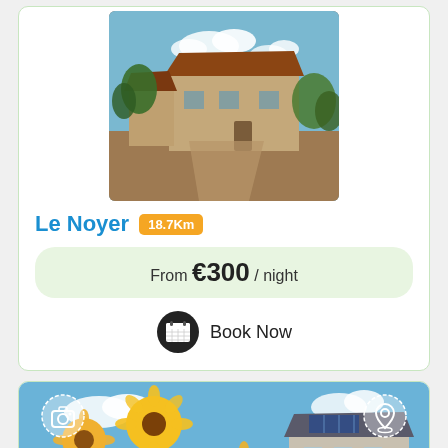[Figure (photo): Photo of a French stone farmhouse with brown/red roof, courtyard, trees, and sky]
Le Noyer 18.7Km
From €300 / night
Book Now
[Figure (photo): Photo of sunflowers in foreground with a house and solar panels in background under blue sky]